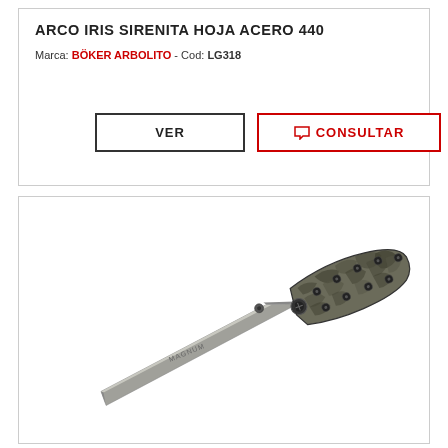ARCO IRIS SIRENITA HOJA ACERO 440
Marca: BÖKER ARBOLITO - Cod: LG318
[Figure (photo): Folding pocket knife with camouflage patterned handle and gray blade, MAGNUM brand, shown open at an angle on white background]